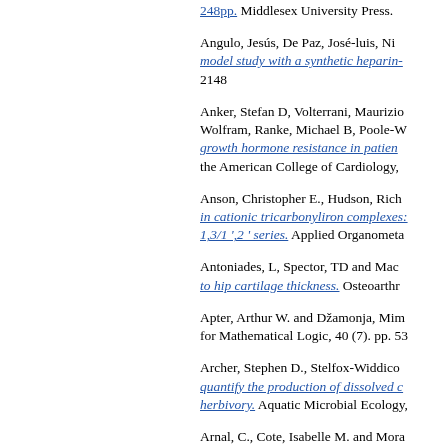Andrews, Richard and Mitchell, Barry. 248pp. Middlesex University Press.
Angulo, Jesús, De Paz, José-luis, Ni... model study with a synthetic heparin-... 2148
Anker, Stefan D, Volterrani, Maurizio... Wolfram, Ranke, Michael B, Poole-W... growth hormone resistance in patien... the American College of Cardiology,
Anson, Christopher E., Hudson, Rich... in cationic tricarbonyliron complexes:... 1,3/1 ',2 ' series. Applied Organometa...
Antoniades, L, Spector, TD and Mac... to hip cartilage thickness. Osteoarthr...
Apter, Arthur W. and Džamonja, Mim... for Mathematical Logic, 40 (7). pp. 53...
Archer, Stephen D., Stelfox-Widdico... quantify the production of dissolved c... herbivory. Aquatic Microbial Ecology,...
Arnal, C., Cote, Isabelle M. and Mora... and mucus in a marine cleaning sym...
Arnaud, L., Haubruge, E. and Gage,... role in sperm competition and cryptic...